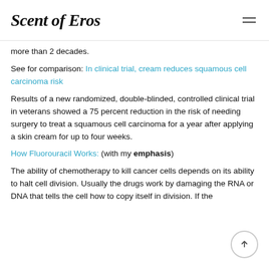Scent of Eros
more than 2 decades.
See for comparison: In clinical trial, cream reduces squamous cell carcinoma risk
Results of a new randomized, double-blinded, controlled clinical trial in veterans showed a 75 percent reduction in the risk of needing surgery to treat a squamous cell carcinoma for a year after applying a skin cream for up to four weeks.
How Fluorouracil Works: (with my emphasis)
The ability of chemotherapy to kill cancer cells depends on its ability to halt cell division. Usually the drugs work by damaging the RNA or DNA that tells the cell how to copy itself in division. If the